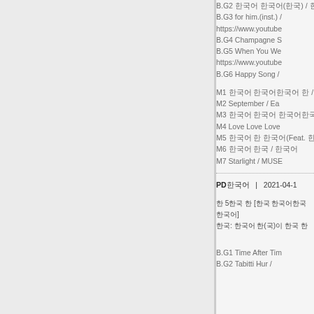B.G2 [Korean] / [Korean]
B.G3 for him.(inst.) /
https://www.youtube...
B.G4 Champagne S...
B.G5 When You We...
https://www.youtube...
B.G6 Happy Song /
M1 [Korean] / [Korean]
M2 September / Ea...
M3 [Korean] / [Korean]
M4 Love Love Love...
M5 [Korean](Feat. [Korean]...
M6 [Korean] / [Korean]
M7 Starlight / MUSE...
PD[Korean]   |   2021-04-1...
[Korean] 5[Korean] [Korean] [[Korean]] / [Korean]
[Korean]: [Korean] [Korean]([Korean])[Korean] [Korean] [Korean]
B.G1 Time After Tim...
B.G2 Tabitti Hur /...